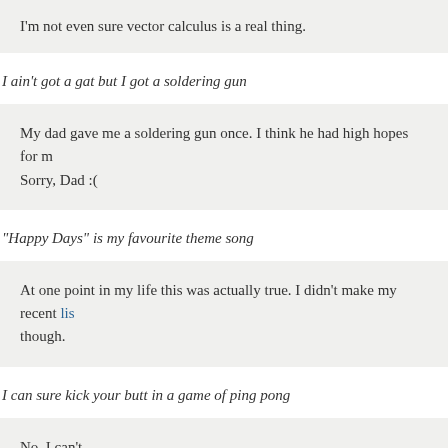I'm not even sure vector calculus is a real thing.
I ain't got a gat but I got a soldering gun
My dad gave me a soldering gun once. I think he had high hopes for m… Sorry, Dad :(
“Happy Days” is my favourite theme song
At one point in my life this was actually true. I didn't make my recent lis… though.
I can sure kick your butt in a game of ping pong
No, I can't.